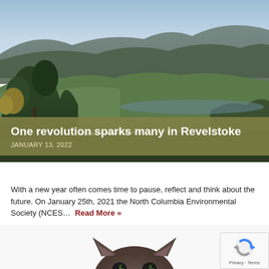[Figure (photo): Aerial panoramic view of a river winding through a forested valley with mountains in the background, taken from a hilltop viewpoint. Green trees in foreground, calm reflective river and town visible in mid-ground.]
One revolution sparks many in Revelstoke
JANUARY 13, 2022
With a new year often comes time to pause, reflect and think about the future. On January 25th, 2021 the North Columbia Environmental Society (NCES…  Read More »
[Figure (photo): Close-up photo of a small brown cat or kitten peeking up from the bottom of the frame, with large eyes visible just above the bottom edge.]
[Figure (other): reCAPTCHA badge with Google reCAPTCHA logo and Privacy - Terms text]